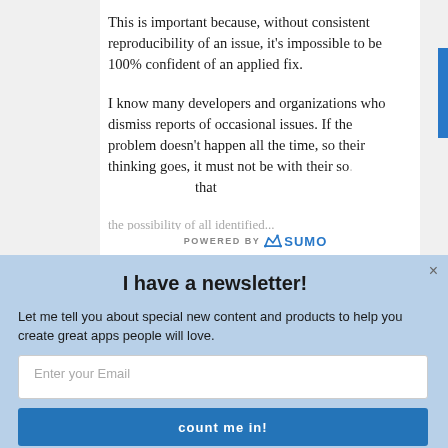This is important because, without consistent reproducibility of an issue, it's impossible to be 100% confident of an applied fix.
I know many developers and organizations who dismiss reports of occasional issues. If the problem doesn't happen all the time, so their thinking goes, it must not be with their so... that the possibility of all identified...
[Figure (logo): POWERED BY SUMO logo banner with crown icon]
I have a newsletter!
Let me tell you about special new content and products to help you create great apps people will love.